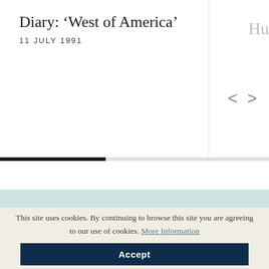Diary: ‘West of America’
11 JULY 1991
This site uses cookies. By continuing to browse this site you are agreeing to our use of cookies. More Information
Accept